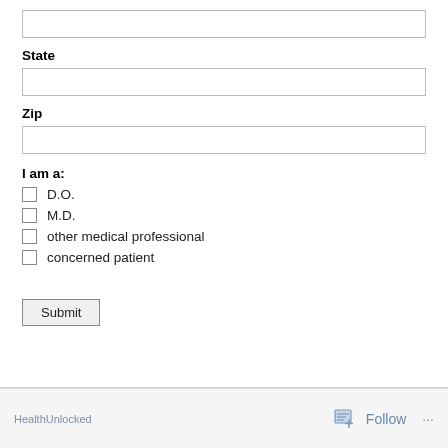(text input box)
State
(text input box)
Zip
(text input box)
I am a:
D.O.
M.D.
other medical professional
concerned patient
Submit
Follow ...